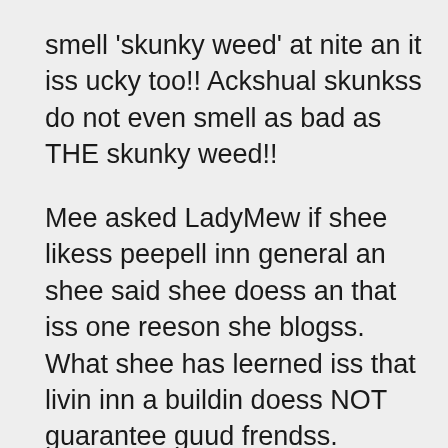smell 'skunky weed' at nite an it iss ucky too!! Ackshual skunkss do not even smell as bad as THE skunky weed!! Mee asked LadyMew if shee likess peepell inn general an shee said shee doess an that iss one reeson she blogss. What shee has leerned iss that livin inn a buildin doess NOT guarantee guud frendss. LadyMew sayss to tell yore Guy shee has seen white Bleedin Heart plant an it was beeuteefull. THE one in nayburr'ss garden iss a deep pink color. Flowerss are so kewl aren't they Mani??